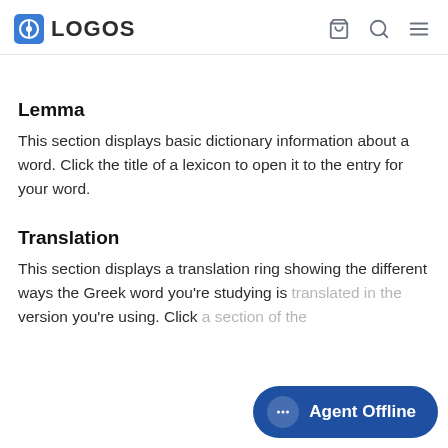LOGOS
Lemma
This section displays basic dictionary information about a word. Click the title of a lexicon to open it to the entry for your word.
Translation
This section displays a translation ring showing the different ways the Greek word you're studying is [translated in the] version you're using. Click a section of the